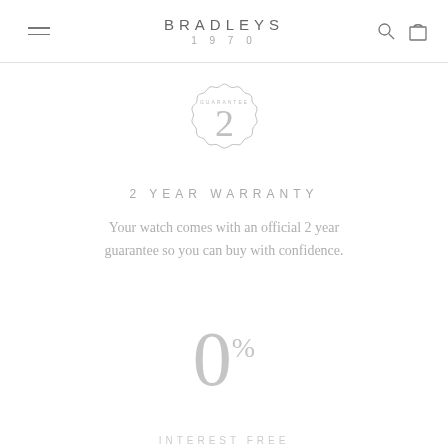BRADLEYS 1970
[Figure (illustration): Circular badge/seal icon with the number 2 in the center and 'GUARANTEE' text around the border, drawn in light gray outline style]
2 YEAR WARRANTY
Your watch comes with an official 2 year guarantee so you can buy with confidence.
[Figure (illustration): Large '0%' text in light gray, representing 0% interest finance offer]
INTEREST FREE